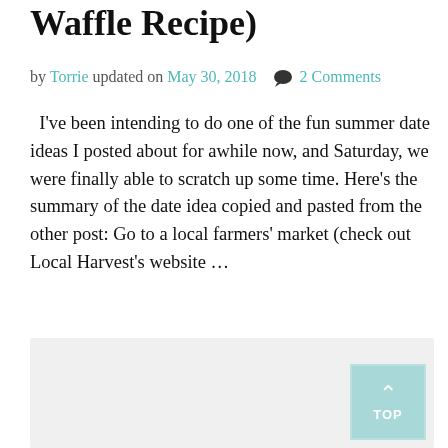Waffle Recipe)
by Torrie updated on May 30, 2018  💬  2 Comments
I've been intending to do one of the fun summer date ideas I posted about for awhile now, and Saturday, we were finally able to scratch up some time. Here's the summary of the date idea copied and pasted from the other post: Go to a local farmers' market (check out Local Harvest's website ...
[Figure (other): Gray placeholder box with a teal 'TOP' back-to-top button in the bottom-right corner containing an upward chevron arrow and the text TOP]